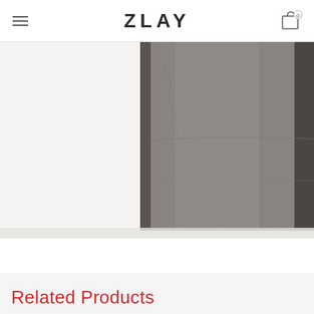ZLAY
[Figure (photo): A gray linen curtain or fabric hanging against a white background, viewed from below. The fabric shows texture and subtle creases, displayed in a storefront or studio setting.]
Related Products